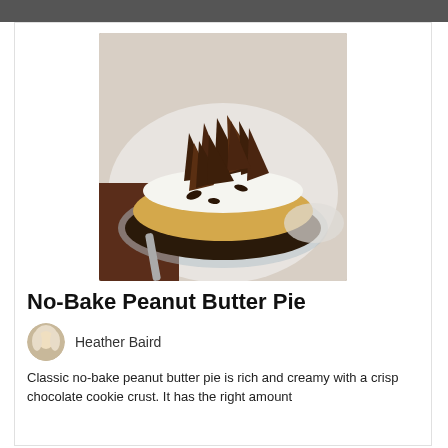[Figure (photo): A no-bake peanut butter pie topped with whipped cream and chocolate shards, on a glass pie plate]
No-Bake Peanut Butter Pie
Heather Baird
Classic no-bake peanut butter pie is rich and creamy with a crisp chocolate cookie crust. It has the right amount